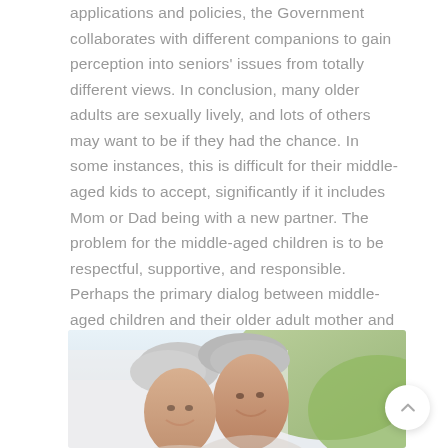applications and policies, the Government collaborates with different companions to gain perception into seniors' issues from totally different views. In conclusion, many older adults are sexually lively, and lots of others may want to be if they had the chance. In some instances, this is difficult for their middle-aged kids to accept, significantly if it includes Mom or Dad being with a new partner. The problem for the middle-aged children is to be respectful, supportive, and responsible. Perhaps the primary dialog between middle-aged children and their older adult mother and father must be about protected sex.
[Figure (photo): Photo of an elderly couple smiling together outdoors, with green foliage in the background. The couple appears happy and affectionate.]